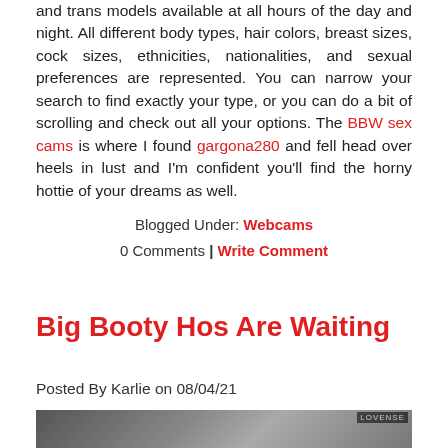and trans models available at all hours of the day and night. All different body types, hair colors, breast sizes, cock sizes, ethnicities, nationalities, and sexual preferences are represented. You can narrow your search to find exactly your type, or you can do a bit of scrolling and check out all your options. The BBW sex cams is where I found gargona280 and fell head over heels in lust and I'm confident you'll find the horny hottie of your dreams as well.
Blogged Under: Webcams
0 Comments | Write Comment
Big Booty Hos Are Waiting
Posted By Karlie on 08/04/21
[Figure (photo): A photo of a dark-haired woman in a red outfit with a tattoo on her arm, shown in a webcam-style stream with a Lovense overlay panel on the right side.]